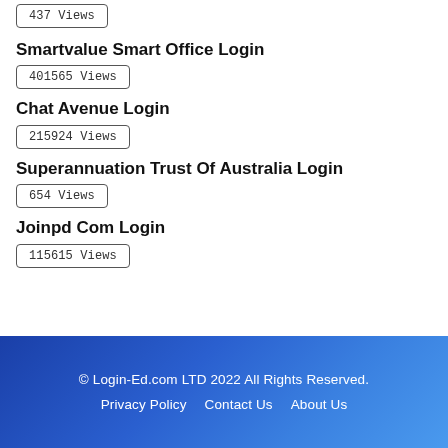437 Views
Smartvalue Smart Office Login
401565 Views
Chat Avenue Login
215924 Views
Superannuation Trust Of Australia Login
654 Views
Joinpd Com Login
115615 Views
© Login-Ed.com LTD 2022 All Rights Reserved.
Privacy Policy  Contact Us  About Us